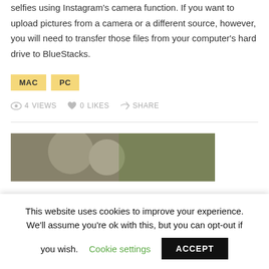selfies using Instagram's camera function. If you want to upload pictures from a camera or a different source, however, you will need to transfer those files from your computer's hard drive to BlueStacks.
MAC  PC
4 VIEWS  0 LIKES  SHARE
[Figure (photo): Partial photo of people visible below a horizontal divider]
This website uses cookies to improve your experience. We'll assume you're ok with this, but you can opt-out if you wish. Cookie settings  ACCEPT